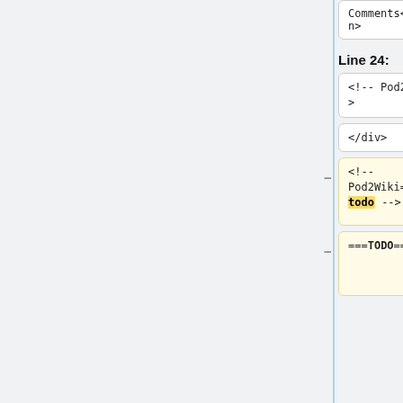Comments</span>
Comments</span>
Line 24:
Line 26:
<!-- Pod2Wiki= -->
<!-- Pod2Wiki= -->
</div>
</div>
<!-- Pod2Wiki=head_todo -->
<!-- Pod2Wiki=head_synopsis -->
===TODO===
===Synopsis===
$c-&gt;{dbdriver} = 'Pg';
# $c-&gt;{dbhost} = 'localhost';